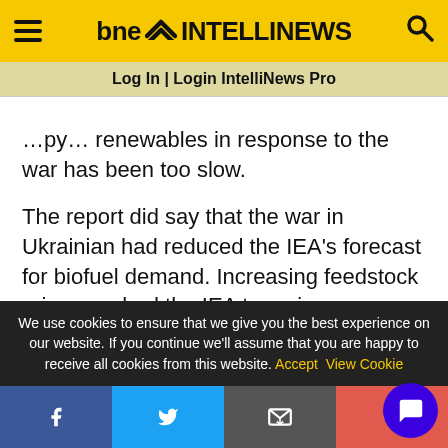bne INTELLINEWS — Log In | Login IntelliNews Pro
...py... renewables in response to the war has been too slow.
The report did say that the war in Ukrainian had reduced the IEA's forecast for biofuel demand. Increasing feedstock prices pushed the IEA to revise downwards by 20% its biofuel demand growth forecasts, which now stand at 5% in 2022 and 3% in 2023.
We use cookies to ensure that we give you the best experience on our website. If you continue we'll assume that you are happy to receive all cookies from this website. Accept  View Cookie